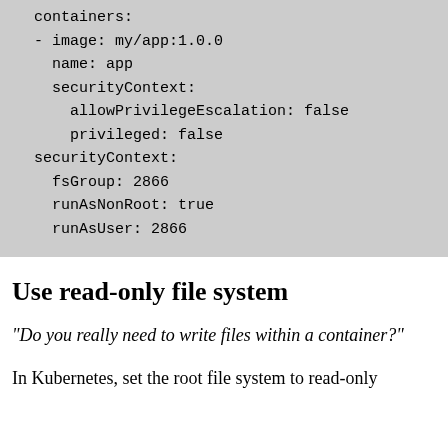containers:
  - image: my/app:1.0.0
    name: app
    securityContext:
      allowPrivilegeEscalation: false
      privileged: false
  securityContext:
    fsGroup: 2866
    runAsNonRoot: true
    runAsUser: 2866
Use read-only file system
"Do you really need to write files within a container?"
In Kubernetes, set the root file system to read-only